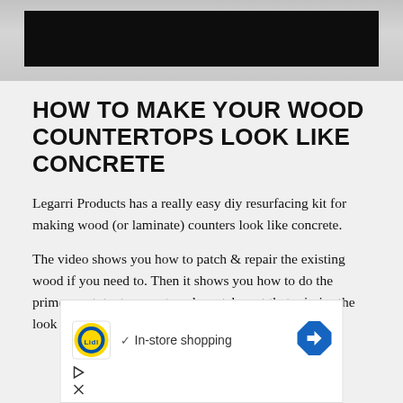[Figure (photo): Photo strip at the top of the page showing a partial image with a black bar overlay, likely a countertop or surface]
HOW TO MAKE YOUR WOOD COUNTERTOPS LOOK LIKE CONCRETE
Legarri Products has a really easy diy resurfacing kit for making wood (or laminate) counters look like concrete.
The video shows you how to patch & repair the existing wood if you need to. Then it shows you how to do the primer coat, texture coat, and scratch coat that mimics the look of real concrete.
[Figure (screenshot): Advertisement banner for Lidl showing the Lidl logo, a checkmark with 'In-store shopping' text, a navigation arrow icon, a play button icon, and a close/X icon]